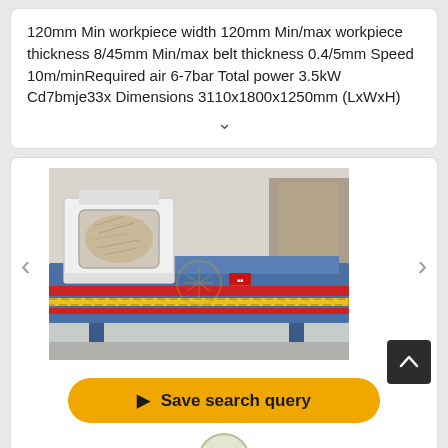120mm Min workpiece width 120mm Min/max workpiece thickness 8/45mm Min/max belt thickness 0.4/5mm Speed 10m/minRequired air 6-7bar Total power 3.5kW Cd7bmje33x Dimensions 3110x1800x1250mm (LxWxH)
[Figure (photo): Industrial belt sanding/grinding machine, blue body with red and yellow belt guides, white dust collection box with window on the left side, long horizontal rail visible]
Save search query